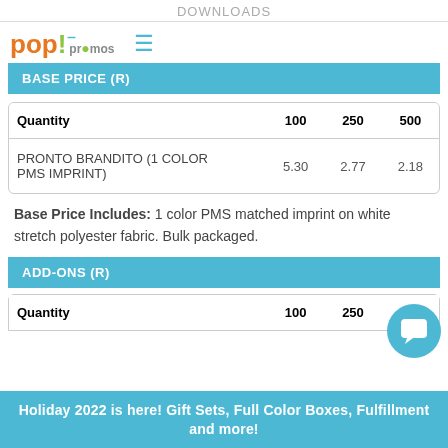DOWNLOADS
[Figure (logo): Pop! Promos logo with hamburger menu icon]
BASE PRICE (R)
| Quantity | 100 | 250 | 500 |
| --- | --- | --- | --- |
| PRONTO BRANDITO (1 COLOR PMS IMPRINT) | 5.30 | 2.77 | 2.18 |
Base Price Includes: 1 color PMS matched imprint on white stretch polyester fabric. Bulk packaged.
ADD-ONS (R)
| Quantity | 100 | 250 | 500 |
| --- | --- | --- | --- |
Holiday 2022 is here! Gift Sets, Full Color Boxes, Fulfillment and more!